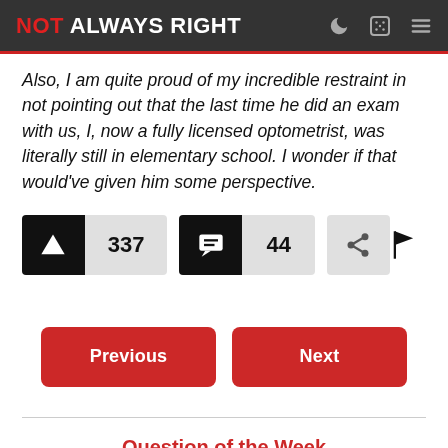NOT ALWAYS RIGHT
Also, I am quite proud of my incredible restraint in not pointing out that the last time he did an exam with us, I, now a fully licensed optometrist, was literally still in elementary school. I wonder if that would've given him some perspective.
337 upvotes, 44 comments, share, flag
Previous | Next
Question of the Week